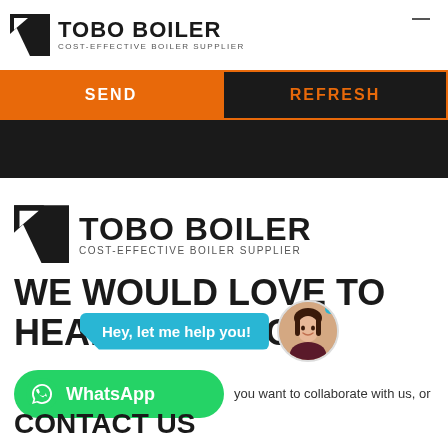[Figure (logo): TOBO BOILER logo with cost-effective boiler supplier tagline in top white header bar]
[Figure (screenshot): Orange SEND button and outlined REFRESH button in dark section]
[Figure (logo): TOBO BOILER logo larger version in bottom white section]
WE WOULD LOVE TO HEAR FROM YOU.
[Figure (screenshot): Chat bubble saying 'Hey, let me help you!' with female avatar]
[Figure (screenshot): WhatsApp green button with icon]
you want to collaborate with us, or
CONTACT US